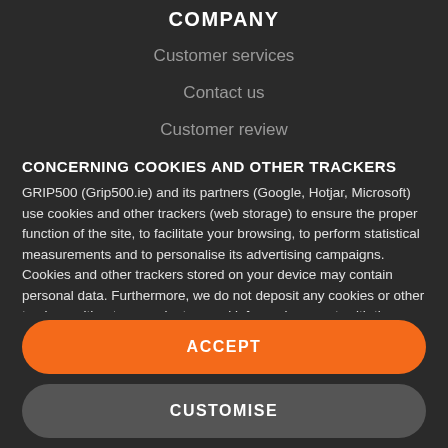COMPANY
Customer services
Contact us
Customer review
CONCERNING COOKIES AND OTHER TRACKERS
GRIP500 (Grip500.ie) and its partners (Google, Hotjar, Microsoft) use cookies and other trackers (web storage) to ensure the proper function of the site, to facilitate your browsing, to perform statistical measurements and to personalise its advertising campaigns. Cookies and other trackers stored on your device may contain personal data. Furthermore, we do not deposit any cookies or other trackers without your voluntary and informed consent, with the exception of those essential to the function of the site. We remember your choice for 6 months. You can withdraw your consent at
ACCEPT
CUSTOMISE